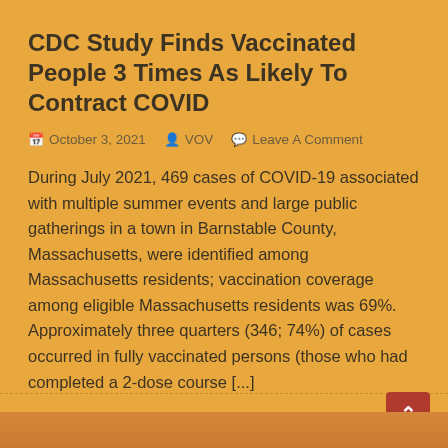CDC Study Finds Vaccinated People 3 Times As Likely To Contract COVID
October 3, 2021   VOV   Leave A Comment
During July 2021, 469 cases of COVID-19 associated with multiple summer events and large public gatherings in a town in Barnstable County, Massachusetts, were identified among Massachusetts residents; vaccination coverage among eligible Massachusetts residents was 69%. Approximately three quarters (346; 74%) of cases occurred in fully vaccinated persons (those who had completed a 2-dose course [...]
Continue Reading